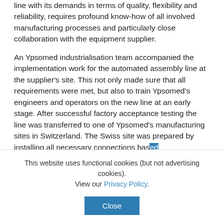line with its demands in terms of quality, flexibility and reliability, requires profound know-how of all involved manufacturing processes and particularly close collaboration with the equipment supplier.
An Ypsomed industrialisation team accompanied the implementation work for the automated assembly line at the supplier's site. This not only made sure that all requirements were met, but also to train Ypsomed's engineers and operators on the new line at an early stage. After successful factory acceptance testing the line was transferred to one of Ypsomed's manufacturing sites in Switzerland. The Swiss site was prepared by installing all necessary connections based
This website uses functional cookies (but not advertising cookies). View our Privacy Policy.